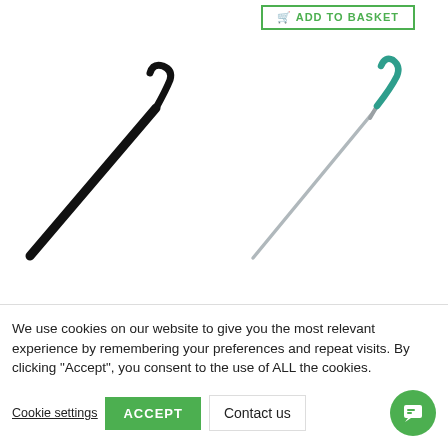[Figure (screenshot): Green outlined 'ADD TO BASKET' button with shopping cart icon in top right area]
[Figure (photo): Black metal hook/pick tool - elongated straight handle with hooked end at top right]
[Figure (photo): Silver/metal needle tool with green hooked end - thin needle with S-shaped green hook at top]
We use cookies on our website to give you the most relevant experience by remembering your preferences and repeat visits. By clicking “Accept”, you consent to the use of ALL the cookies.
Cookie settings
ACCEPT
Contact us